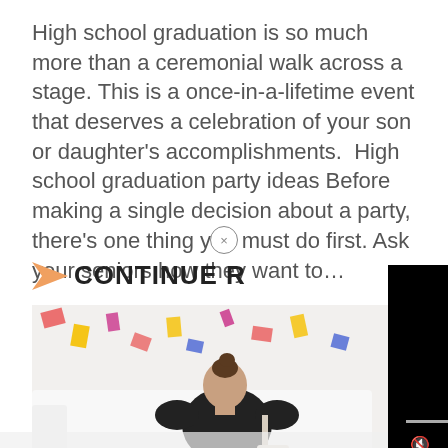High school graduation is so much more than a ceremonial walk across a stage. This is a once-in-a-lifetime event that deserves a celebration of your son or daughter's accomplishments.  High school graduation party ideas Before making a single decision about a party, there's one thing you must do first. Ask your seniors how they want to…
CONTINUE R...
[Figure (screenshot): A video player showing a black screen with a play button triangle, a progress bar, playback controls including mute, time display showing 01:27, grid, settings, and fullscreen icons.]
[Figure (photo): A person with an updo hairstyle sitting on a white couch in what appears to be a bright room decorated with colorful paper shapes on a white wall.]